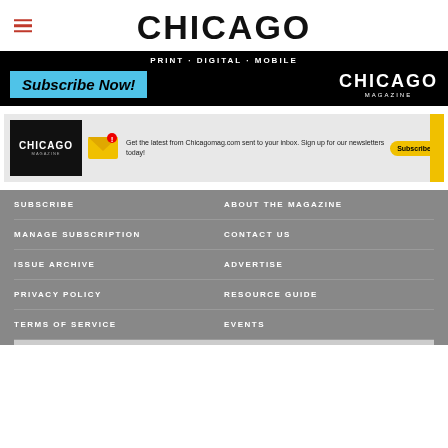CHICAGO
[Figure (illustration): Chicago Magazine subscription banner ad: PRINT · DIGITAL · MOBILE, Subscribe Now!, Chicago Magazine logo on black background]
[Figure (infographic): Newsletter signup ad: Chicago Magazine logo, envelope icon, text 'Get the latest from Chicagomag.com sent to your inbox. Sign up for our newsletters today!', Subscribe button, close X, yellow right strip]
SUBSCRIBE
ABOUT THE MAGAZINE
MANAGE SUBSCRIPTION
CONTACT US
ISSUE ARCHIVE
ADVERTISE
PRIVACY POLICY
RESOURCE GUIDE
TERMS OF SERVICE
EVENTS